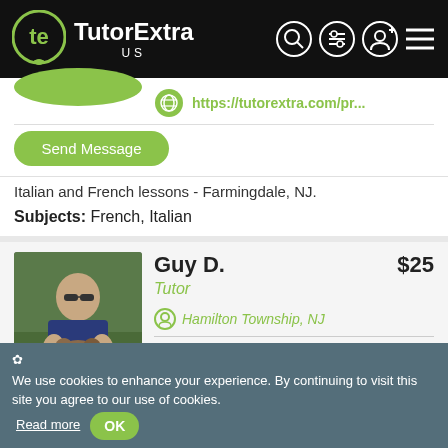[Figure (logo): TutorExtra US logo with green circular icon and white text on black header]
https://tutorextra.com/pr...
Send Message
Italian and French lessons - Farmingdale, NJ.
Subjects: French, Italian
[Figure (photo): Photo of Guy D. sitting outdoors holding a dog]
Guy D.
$25
Tutor
Hamilton Township, NJ
https://tutorextra.com/pr...
Send Message
✿ We use cookies to enhance your experience. By continuing to visit this site you agree to our use of cookies. Read more OK